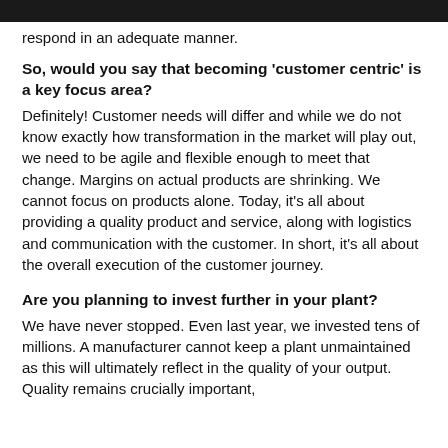respond in an adequate manner.
So, would you say that becoming ‘customer centric’ is a key focus area?
Definitely! Customer needs will differ and while we do not know exactly how transformation in the market will play out, we need to be agile and flexible enough to meet that change. Margins on actual products are shrinking. We cannot focus on products alone. Today, it’s all about providing a quality product and service, along with logistics and communication with the customer. In short, it’s all about the overall execution of the customer journey.
Are you planning to invest further in your plant?
We have never stopped. Even last year, we invested tens of millions. A manufacturer cannot keep a plant unmaintained as this will ultimately reflect in the quality of your output. Quality remains crucially important,